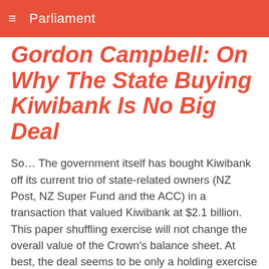SCOOP Parliament
Gordon Campbell: On Why The State Buying Kiwibank Is No Big Deal
So… The government itself has bought Kiwibank off its current trio of state-related owners (NZ Post, NZ Super Fund and the ACC) in a transaction that valued Kiwibank at $2.1 billion. This paper shuffling exercise will not change the overall value of the Crown's balance sheet. At best, the deal seems to be only a holding exercise triggered by NZ Super's desire to bring foreign expertise (and foreign capital!) into the bank's ownership model. The acquisition will now ensure that Kiwibank remains entirely Kiwi--owned. Great. In itself though, this deal won't do anything to improve Kiwibank's ability to compete, or to strengthen the